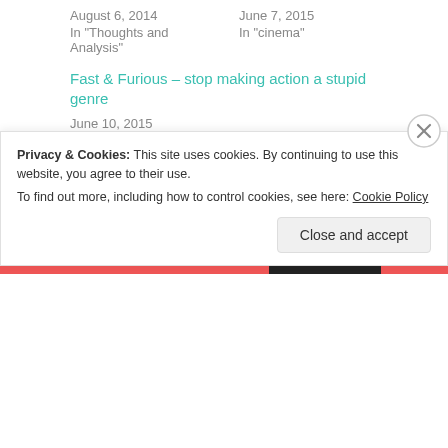August 6, 2014
In "Thoughts and Analysis"
June 7, 2015
In "cinema"
Fast & Furious – stop making action a stupid genre
June 10, 2015
In "cinema"
Uncategorized
BOOKS  CINEMA  FILM
Privacy & Cookies: This site uses cookies. By continuing to use this website, you agree to their use.
To find out more, including how to control cookies, see here: Cookie Policy
Close and accept